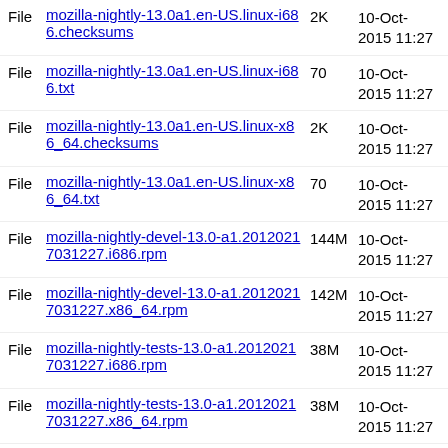File  [link: mozilla-nightly-...i686.checksums]  2K  10-Oct-2015 11:27
File  mozilla-nightly-13.0a1.en-US.linux-i686.txt  70  10-Oct-2015 11:27
File  mozilla-nightly-13.0a1.en-US.linux-x86_64.checksums  2K  10-Oct-2015 11:27
File  mozilla-nightly-13.0a1.en-US.linux-x86_64.txt  70  10-Oct-2015 11:27
File  mozilla-nightly-devel-13.0-a1.20120217031227.i686.rpm  144M  10-Oct-2015 11:27
File  mozilla-nightly-devel-13.0-a1.20120217031227.x86_64.rpm  142M  10-Oct-2015 11:27
File  mozilla-nightly-tests-13.0-a1.20120217031227.i686.rpm  38M  10-Oct-2015 11:27
File  mozilla-nightly-tests-13.0-a1.20120217031227.x86_64.rpm  38M  10-Oct-2015 11:27